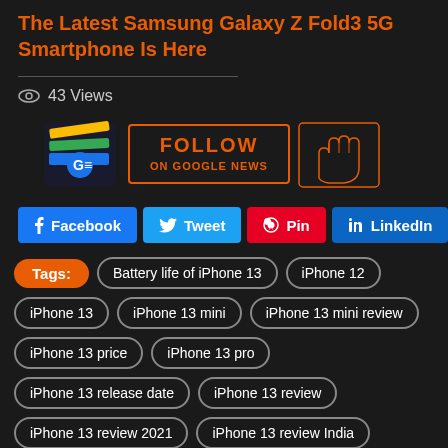The Latest Samsung Galaxy Z Fold3 5G Smartphone Is Here
43 Views
[Figure (other): Follow on Google News banner with Google News logo and hand icon]
Facebook Tweet Pin LinkedIn
Tags: Battery life of iPhone 13, iPhone 12, iPhone 13, iPhone 13 mini, iPhone 13 mini review, iPhone 13 price, iPhone 13 pro, iPhone 13 release date, iPhone 13 review, iPhone 13 review 2021, iPhone 13 review India